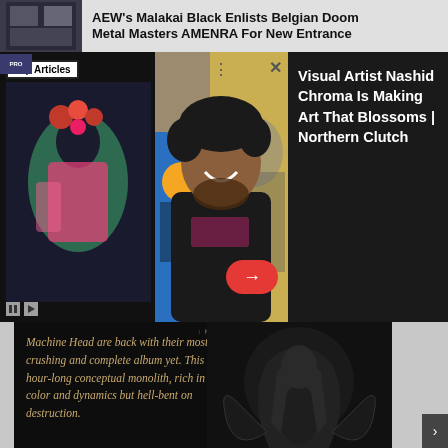AEW's Malakai Black Enlists Belgian Doom Metal Masters AMENRA For New Entrance
Top Articles
Visual Artist Nashid Chroma Is Making Art That Blossoms | Northern Clutch
[Figure (photo): Photo of a smiling South Asian man with curly hair wearing a black t-shirt, standing in front of colorful artworks]
[Figure (photo): Machine Head album advertisement: black background with italic gold text and album art showing a figure, text reads: Machine Head are back with their most crushing and complete album yet. This is an hour-long conceptual monolith, rich in color and dynamics but hell-bent on destruction. OUT NOW]
Machine Head are back with their most crushing and complete album yet. This is an hour-long conceptual monolith, rich in color and dynamics but hell-bent on destruction.
ØUT NØW
ADVERTISEMENT
[Figure (photo): Advertisement banner: MEET LOCAL SINGLES - JOIN WITH A FREE TRIAL TODAY - Clover app, with gradient pink/orange/purple background]